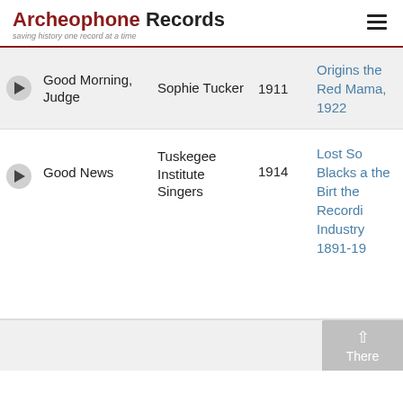Archeophone Records — saving history one record at a time
|  | Song | Artist | Year | Album |
| --- | --- | --- | --- | --- |
| ▶ | Good Morning, Judge | Sophie Tucker | 1911 | Origins the Red Mama, 1922 |
| ▶ | Good News | Tuskegee Institute Singers | 1914 | Lost So Blacks a the Birt the Recordi Industry 1891-19 |
There